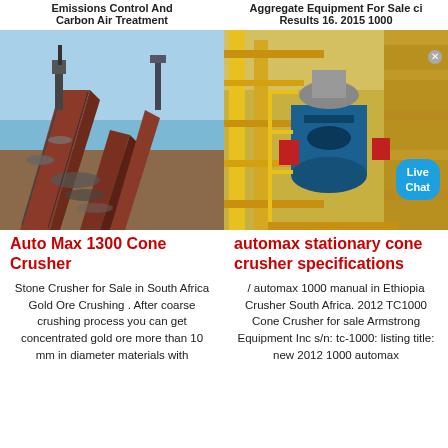Emissions Control And Carbon Air Treatment
Aggregate Equipment For Sale ci Results 16. 2015 1000
[Figure (photo): Industrial stone crusher conveyor belt machine with red metal structure, aggregate material being processed outdoors under blue sky.]
[Figure (photo): Yellow industrial stationary cone crusher equipment on platform with blue components, industrial setting.]
Auto Max 1300 Cone Crusher
automax stationary cone crusher specifications
Stone Crusher for Sale in South Africa Gold Ore Crushing . After coarse crushing process you can get concentrated gold ore more than 10 mm in diameter materials with
/ automax 1000 manual in Ethiopia Crusher South Africa. 2012 TC1000 Cone Crusher for sale Armstrong Equipment Inc s/n: tc-1000: listing title: new 2012 1000 automax